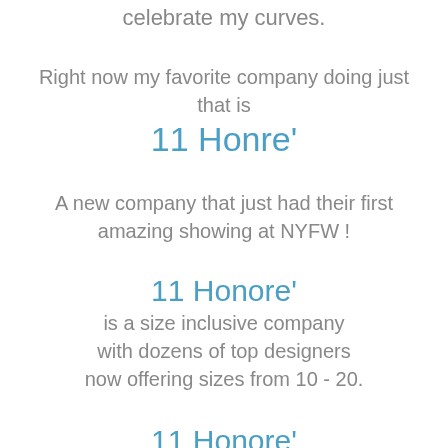celebrate my curves.
Right now my favorite company doing just that is
11 Honre'
A new company that just had their first amazing showing at NYFW !
11 Honore'
is a size inclusive company with dozens of top designers now offering sizes from 10 - 20.
11 Honore'
is a company that believes